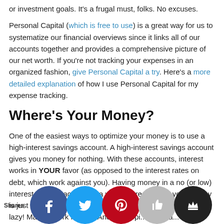or investment goals. It's a frugal must, folks. No excuses.
Personal Capital (which is free to use) is a great way for us to systematize our financial overviews since it links all of our accounts together and provides a comprehensive picture of our net worth. If you're not tracking your expenses in an organized fashion, give Personal Capital a try. Here's a more detailed explanation of how I use Personal Capital for my expense tracking.
Where's Your Money?
One of the easiest ways to optimize your money is to use a high-interest savings account. A high-interest savings account gives you money for nothing. With these accounts, interest works in YOUR favor (as opposed to the interest rates on debt, which work against you). Having money in a no (or low) interest savings account is a waste of resources–your money is just sitting there doing nothing. Don't let your money be lazy! Make it work for you! And now, epi... ...expla... math...
[Figure (infographic): Social share bar at the bottom with Shares label and five social media circle icons: Facebook (blue), Twitter (light blue), Pinterest (red), Like/thumbs-up (gray), Crown (black).]